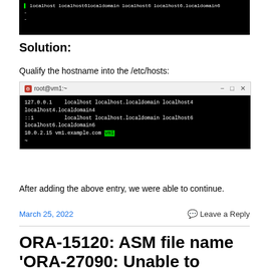[Figure (screenshot): Terminal/command line screenshot showing partial text with green highlighted element and white text on black background]
Solution:
Qualify the hostname into the /etc/hosts:
[Figure (screenshot): Terminal window titled 'root@vm1:~' showing /etc/hosts content: '127.0.0.1 localhost localhost.localdomain localhost4 localhost4.localdomain4', '::1 localhost localhost.localdomain localhost6 localhost6.localdomain6', '10.0.2.15 vm1.example.com vm1' with 'vm1' highlighted in green]
After adding the above entry, we were able to continue.
March 25, 2022    Leave a Reply
ORA-15120: ASM file name 'ORA-27090: Unable to reserve